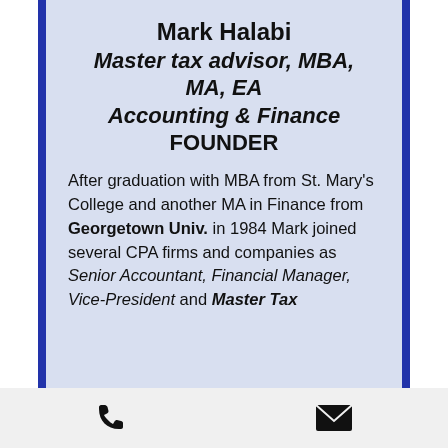Mark Halabi
Master tax advisor, MBA, MA, EA
Accounting & Finance
FOUNDER
After graduation with MBA from St. Mary's College and another MA in Finance from Georgetown Univ. in 1984 Mark joined several CPA firms and companies as Senior Accountant, Financial Manager, Vice-President and Master Tax